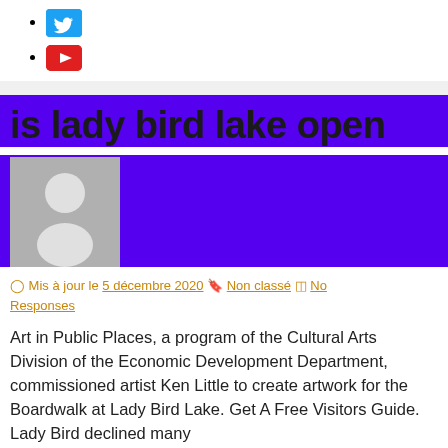[Twitter icon]
[YouTube icon]
is lady bird lake open
[Figure (illustration): Gray avatar placeholder with white person silhouette on purple background]
Mis à jour le 5 décembre 2020  Non classé  No Responses
Art in Public Places, a program of the Cultural Arts Division of the Economic Development Department, commissioned artist Ken Little to create artwork for the Boardwalk at Lady Bird Lake. Get A Free Visitors Guide. Lady Bird declined many